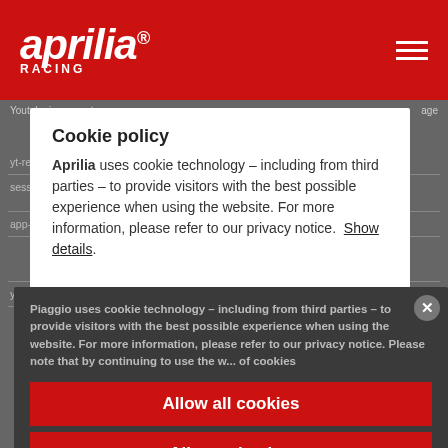[Figure (logo): Aprilia Racing logo - white text on red background header]
Youtube incorporato   age
yt-remote-  youtube.co  Memorizza le  Session  HTM
sessione-  m  preferenze del lettore  L
app-  Local
Cookie policy
Aprilia uses cookie technology – including from third parties – to provide visitors with the best possible experience when using the website. For more information, please refer to our privacy notice.  Show details.
yt-remote-  youtube.co  Memorizza le  Session  HTM
Piaggio uses cookie technology – including from third parties – to provide visitors with the best possible experience when using the website. For more information, please refer to our privacy notice. Please note that by continuing to use the w...  of cookies
Allow all cookies
Allow selection
Use necessary cookies only
☑ Necessary  ☐ Preferences
☐ Statistics  ☐ Marketing
Settings ∨
Non classificati (11)